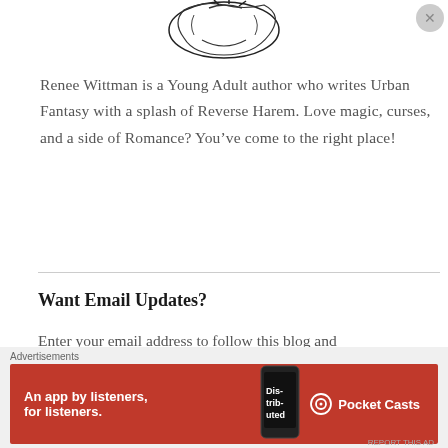[Figure (illustration): Partial illustration of a decorative hand-drawn image, clipped at top of page]
Renee Wittman is a Young Adult author who writes Urban Fantasy with a splash of Reverse Harem. Love magic, curses, and a side of Romance? You've come to the right place!
Want Email Updates?
Enter your email address to follow this blog and
[Figure (infographic): Pocket Casts advertisement banner: red background with text 'An app by listeners, for listeners.' and Pocket Casts logo, with phone image showing 'Distributed' text]